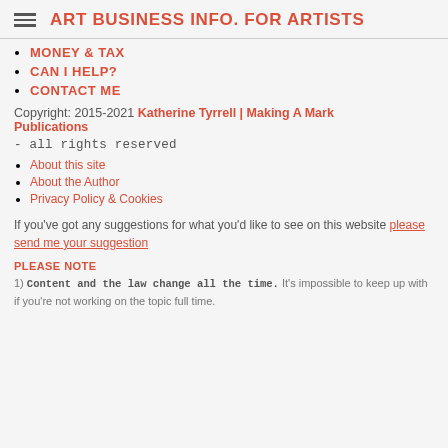ART BUSINESS INFO. FOR ARTISTS
MONEY & TAX
CAN I HELP?
CONTACT ME
Copyright: 2015-2021 Katherine Tyrrell | Making A Mark Publications - all rights reserved
About this site
About the Author
Privacy Policy & Cookies
If you've got any suggestions for what you'd like to see on this website please send me your suggestion
PLEASE NOTE
1) Content and the law change all the time. It's impossible to keep up with if you're not working on the topic full time.